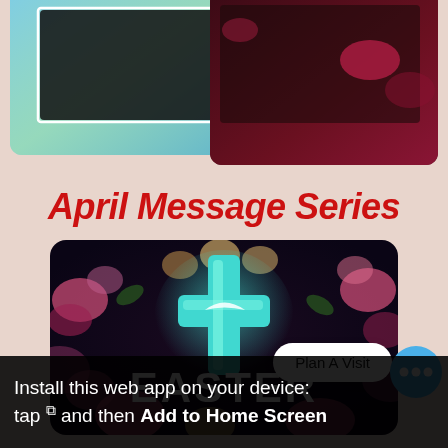[Figure (screenshot): Top partial UI screenshot showing two overlapping cards — one with a cyan/blue watercolor background and one with dark red/maroon floral background, partially visible at the top of the screen]
April Message Series
[Figure (photo): Easter themed card with dark floral background (roses and other flowers), a glowing cyan cross in the center, and bold white text reading EASTER]
Plan A Visit
Install this web app on your device: tap and then Add to Home Screen